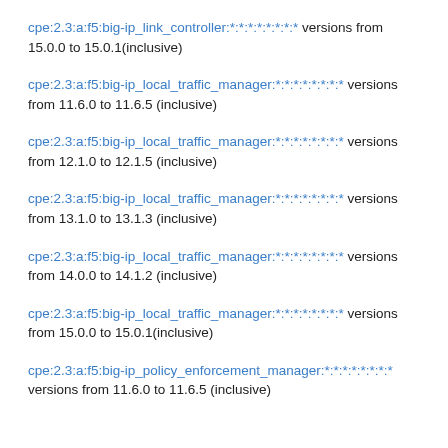cpe:2.3:a:f5:big-ip_link_controller:*:*:*:*:*:*:*:* versions from 15.0.0 to 15.0.1(inclusive)
cpe:2.3:a:f5:big-ip_local_traffic_manager:*:*:*:*:*:*:*:* versions from 11.6.0 to 11.6.5 (inclusive)
cpe:2.3:a:f5:big-ip_local_traffic_manager:*:*:*:*:*:*:*:* versions from 12.1.0 to 12.1.5 (inclusive)
cpe:2.3:a:f5:big-ip_local_traffic_manager:*:*:*:*:*:*:*:* versions from 13.1.0 to 13.1.3 (inclusive)
cpe:2.3:a:f5:big-ip_local_traffic_manager:*:*:*:*:*:*:*:* versions from 14.0.0 to 14.1.2 (inclusive)
cpe:2.3:a:f5:big-ip_local_traffic_manager:*:*:*:*:*:*:*:* versions from 15.0.0 to 15.0.1(inclusive)
cpe:2.3:a:f5:big-ip_policy_enforcement_manager:*:*:*:*:*:*:*:* versions from 11.6.0 to 11.6.5 (inclusive)